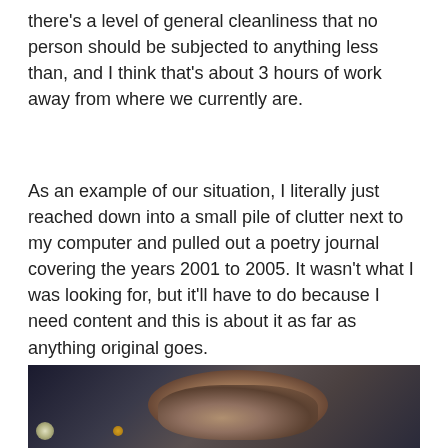there's a level of general cleanliness that no person should be subjected to anything less than, and I think that's about 3 hours of work away from where we currently are.
As an example of our situation, I literally just reached down into a small pile of clutter next to my computer and pulled out a poetry journal covering the years 2001 to 2005. It wasn't what I was looking for, but it'll have to do because I need content and this is about it as far as anything original goes.
[Figure (photo): A close-up photo of a person's face in dim/dark lighting, appearing to be smiling or laughing. The image is dark with some facial highlights visible.]